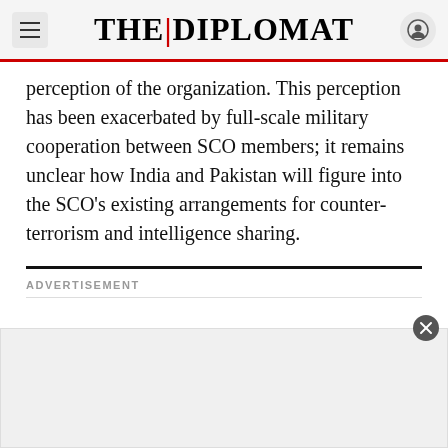THE DIPLOMAT
perception of the organization. This perception has been exacerbated by full-scale military cooperation between SCO members; it remains unclear how India and Pakistan will figure into the SCO's existing arrangements for counter-terrorism and intelligence sharing.
ADVERTISEMENT